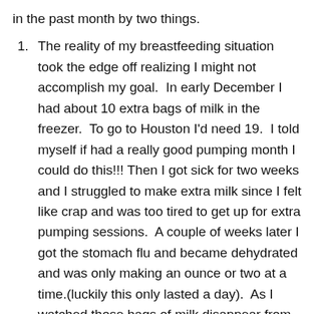in the past month by two things.
The reality of my breastfeeding situation took the edge off realizing I might not accomplish my goal.  In early December I had about 10 extra bags of milk in the freezer.  To go to Houston I'd need 19.  I told myself if had a really good pumping month I could do this!!!  Then I got sick for two weeks and I struggled to make extra milk since I felt like crap and was too tired to get up for extra pumping sessions.  A couple of weeks later I got the stomach flu and became dehydrated and was only making an ounce or two at a time.(luckily this only lasted a day).  As I watched those bags of milk disappear from the freezer, I started to accept I would not be running this marathon.
The ironic twist to this all came last Saturday when my stepmom had a close family member pass away. My